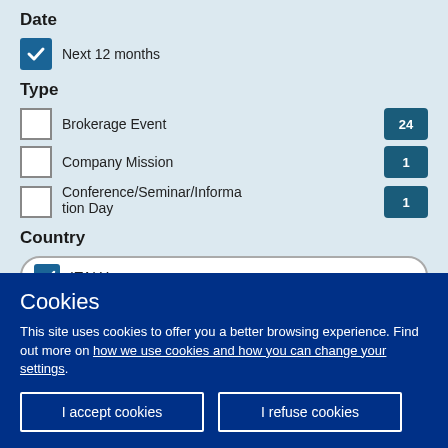Date
Next 12 months (checked)
Type
Brokerage Event 24
Company Mission 1
Conference/Seminar/Information Day 1
Country
ITALY (checked)
Cookies
This site uses cookies to offer you a better browsing experience. Find out more on how we use cookies and how you can change your settings.
I accept cookies | I refuse cookies